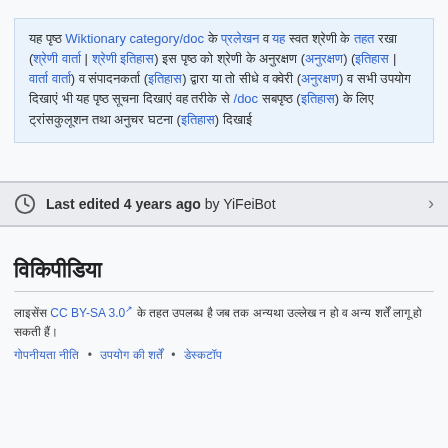यह पृष्ठ Wiktionary category/doc के प्रलेखन हेतु है और यह स्वयं श्रेणी के तहत रखा (श्रेणी वार्ता | श्रेणी इतिहास) इस पृष्ठ को श्रेणी के अनुरक्षण (अनुरक्षण) (इतिहास | वार्ता वार्ता) व संपादनकर्ता (इतिहास) द्वारा या तो सीधे व क्वेरी (अनुरक्षण) व सभी उपयोग दिखाएं भी यह पृष्ठ सूचना दिखाएं वह तरीके से /doc सबपृष्ठ (इतिहास) के लिए ट्रांसकुलूशन तथा अनुचर घटना (इतिहास) दिखाई
Last edited 4 years ago by YiFeiBot
विकिपीडिया
लाइसेंस CC BY-SA 3.0 के तहत उपलब्ध है जब तक अन्यथा उल्लेख न हो व अन्य शर्तें लागू हो सकती हैं।
गोपनीयता नीति • उपयोग की शर्तें • डेस्कटॉप